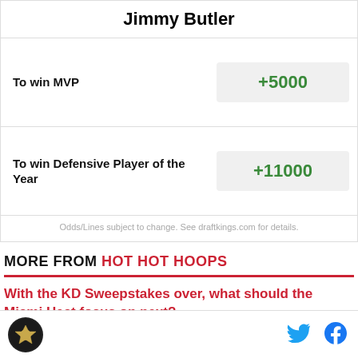Jimmy Butler
| Bet Type | Odds |
| --- | --- |
| To win MVP | +5000 |
| To win Defensive Player of the Year | +11000 |
Odds/Lines subject to change. See draftkings.com for details.
MORE FROM HOT HOT HOOPS
With the KD Sweepstakes over, what should the Miami Heat focus on next?
[Figure (logo): Hot Hot Hoops logo — circular badge with crown icon on dark background]
[Figure (logo): Twitter bird icon in blue]
[Figure (logo): Facebook f icon in dark blue]